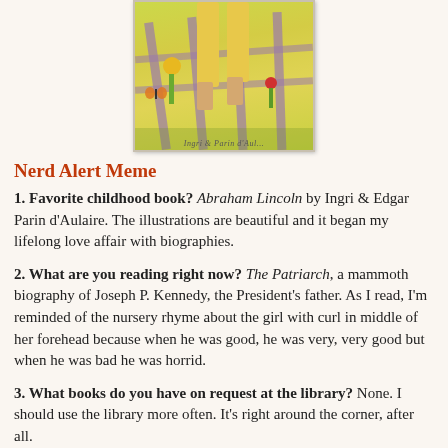[Figure (illustration): Partial illustration of book cover showing a child's legs in yellow shorts standing near a wooden fence with flowers and a butterfly on a green/yellow background]
Nerd Alert Meme
1. Favorite childhood book? Abraham Lincoln by Ingri & Edgar Parin d'Aulaire. The illustrations are beautiful and it began my lifelong love affair with biographies.
2. What are you reading right now? The Patriarch, a mammoth biography of Joseph P. Kennedy, the President's father. As I read, I'm reminded of the nursery rhyme about the girl with curl in middle of her forehead because when he was good, he was very, very good but when he was bad he was horrid.
3. What books do you have on request at the library? None. I should use the library more often. It's right around the corner, after all.